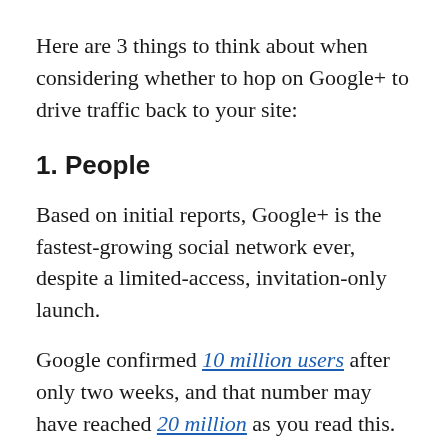Here are 3 things to think about when considering whether to hop on Google+ to drive traffic back to your site:
1. People
Based on initial reports, Google+ is the fastest-growing social network ever, despite a limited-access, invitation-only launch.
Google confirmed 10 million users after only two weeks, and that number may have reached 20 million as you read this.
That's in part to its better design and